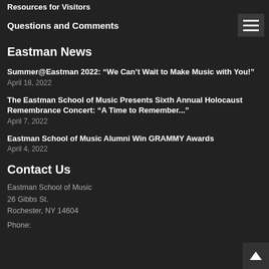Resources for Visitors
Questions and Comments
Eastman News
Summer@Eastman 2022: “We Can’t Wait to Make Music with You!”
April 18, 2022
The Eastman School of Music Presents Sixth Annual Holocaust Remembrance Concert: "A Time to Remember..."
April 7, 2022
Eastman School of Music Alumni Win GRAMMY Awards
April 4, 2022
Contact Us
Eastman School of Music
26 Gibbs St.
Rochester, NY 14604
Phone: